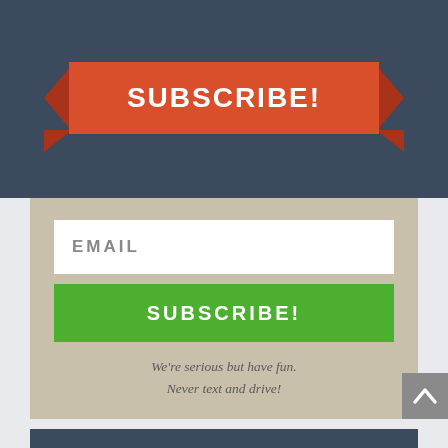[Figure (infographic): Orange ribbon banner with 'SUBSCRIBE!' text in white capital letters on dark navy background]
EMAIL
SUBSCRIBE!
We're serious but have fun.
Never text and drive!
CATEGORIES
Select Category